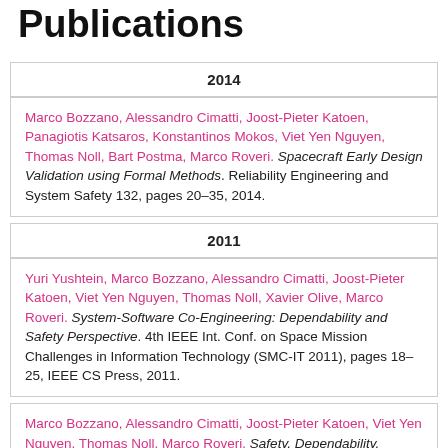Publications
2014
Marco Bozzano, Alessandro Cimatti, Joost-Pieter Katoen, Panagiotis Katsaros, Konstantinos Mokos, Viet Yen Nguyen, Thomas Noll, Bart Postma, Marco Roveri. Spacecraft Early Design Validation using Formal Methods. Reliability Engineering and System Safety 132, pages 20–35, 2014.
2011
Yuri Yushtein, Marco Bozzano, Alessandro Cimatti, Joost-Pieter Katoen, Viet Yen Nguyen, Thomas Noll, Xavier Olive, Marco Roveri. System-Software Co-Engineering: Dependability and Safety Perspective. 4th IEEE Int. Conf. on Space Mission Challenges in Information Technology (SMC-IT 2011), pages 18–25, IEEE CS Press, 2011.
Marco Bozzano, Alessandro Cimatti, Joost-Pieter Katoen, Viet Yen Nguyen, Thomas Noll, Marco Roveri. Safety, Dependability,